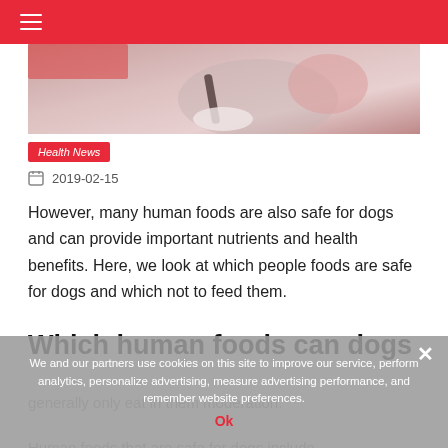≡ (navigation menu)
[Figure (photo): Hero image showing a dog being examined or groomed, with pink/red tones]
Health News
2019-02-15
However, many human foods are also safe for dogs and can provide important nutrients and health benefits. Here, we look at which people foods are safe for dogs and which not to feed them.
Which human foods can dogs eat?
We and our partners use cookies on this site to improve our service, perform analytics, personalize advertising, measure advertising performance, and remember website preferences.
Ok